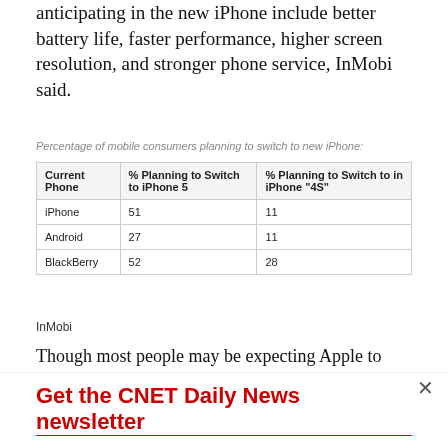anticipating in the new iPhone include better battery life, faster performance, higher screen resolution, and stronger phone service, InMobi said.
Percentage of mobile consumers planning to switch to new iPhone:
| Current Phone | % Planning to Switch to iPhone 5 | % Planning to Switch to in iPhone "4S" |
| --- | --- | --- |
| iPhone | 51 | 11 |
| Android | 27 | 11 |
| BlackBerry | 52 | 28 |
InMobi
Though most people may be expecting Apple to unveil a totally new phone at next Tuesday's event, past reports have claimed that the device will just be a
Get the CNET Daily News newsletter
Spice up your small talk with the latest tech news, products and reviews. Delivered on weekdays.